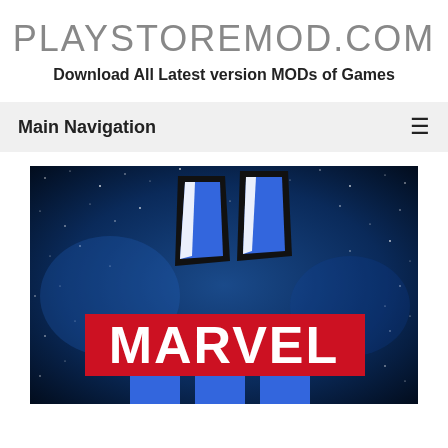PLAYSTOREMOD.COM
Download All Latest version MODs of Games
Main Navigation
[Figure (logo): Marvel Strike Force game logo on a dark blue starry space background, featuring the Marvel logo in red and white block letters, with blue angular geometric shapes above forming an 'M' or stylized letter marks.]